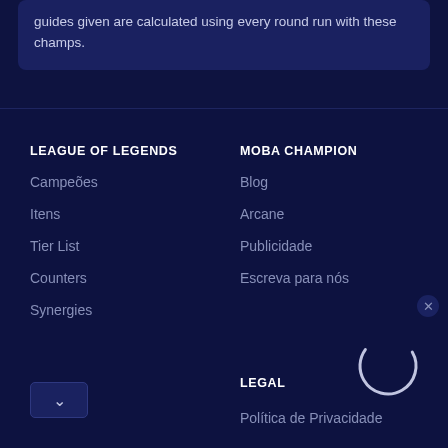guides given are calculated using every round run with these champs.
LEAGUE OF LEGENDS
Campeões
Itens
Tier List
Counters
Synergies
MOBA CHAMPION
Blog
Arcane
Publicidade
Escreva para nós
LEGAL
Política de Privacidade